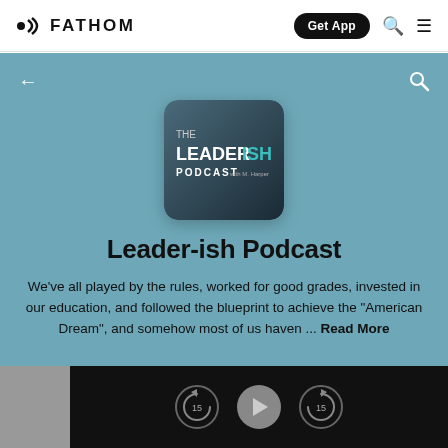FATHOM
[Figure (screenshot): The Leaderish Podcast logo — dark gradient square with teal text reading THE LEADERISH PODCAST]
Leader-ish Podcast
We've all played by the rules, worked for good grades, invested in our education, and followed the blueprint to achieve the "American Dream", and somehow most of us haven ... Read More
Careers  Business